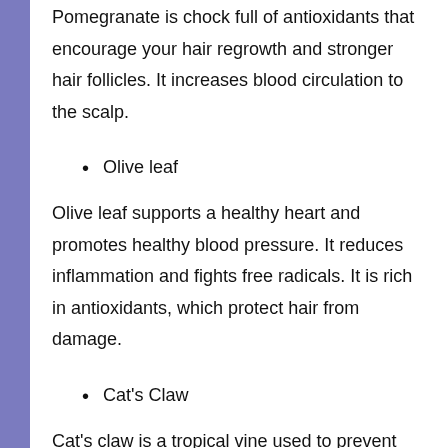Pomegranate is chock full of antioxidants that encourage your hair regrowth and stronger hair follicles. It increases blood circulation to the scalp.
Olive leaf
Olive leaf supports a healthy heart and promotes healthy blood pressure. It reduces inflammation and fights free radicals. It is rich in antioxidants, which protect hair from damage.
Cat's Claw
Cat's claw is a tropical vine used to prevent hair loss, particularly in chemotherapy patients.
Garlic
Garlic has many health benefits. It can reduce inflammation and lower blood pressure. It boosts collagen production, which speeds up hair